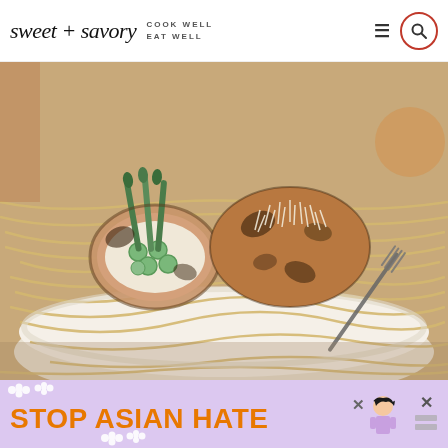sweet + savory — COOK WELL EAT WELL
[Figure (photo): A white bowl of pasta linguine topped with asparagus-stuffed chicken rolls, one sliced open showing green asparagus inside, topped with shredded cheese, with a fork resting in the bowl.]
[Figure (infographic): Ad banner with lavender background showing 'STOP ASIAN HATE' in bold orange text with white flower decorations, an anime-style character, and a close button with an X.]